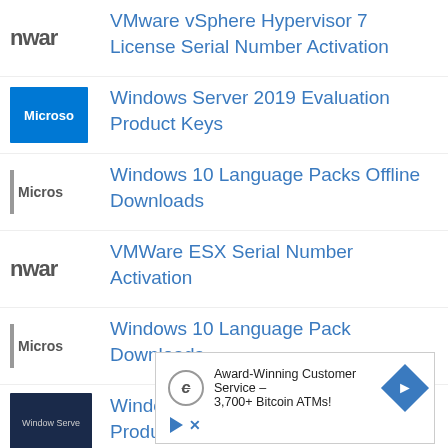VMware vSphere Hypervisor 7 License Serial Number Activation
Windows Server 2019 Evaluation Product Keys
Windows 10 Language Packs Offline Downloads
VMWare ESX Serial Number Activation
Windows 10 Language Pack Downloads
Windows Server 2012 R2 Evaluation Product Keys
[Figure (infographic): Advertisement banner: Award-Winning Customer Service – 3,700+ Bitcoin ATMs! with navigation arrow icon, play and close icons below.]